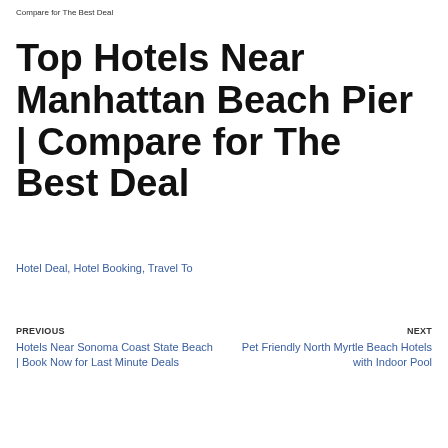Compare for The Best Deal
Top Hotels Near Manhattan Beach Pier | Compare for The Best Deal
Hotel Deal, Hotel Booking, Travel To
PREVIOUS
Hotels Near Sonoma Coast State Beach | Book Now for Last Minute Deals
NEXT
Pet Friendly North Myrtle Beach Hotels with Indoor Pool